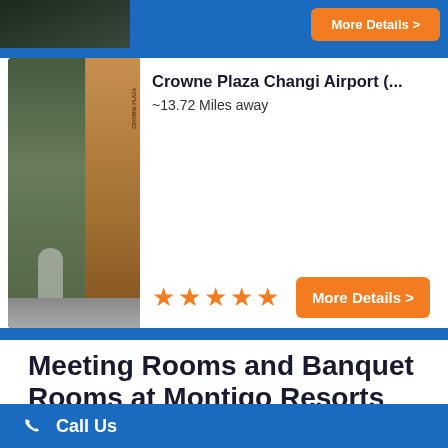[Figure (photo): Partial view of hotel image and orange More Details button at top strip]
[Figure (photo): Crowne Plaza Changi Airport hotel exterior photo with wooden paneling and person walking]
Crowne Plaza Changi Airport (...
~13.72 Miles away
More Details >
Meeting Rooms and Banquet Rooms at Montigo Resorts Nongsa
Below are the meeting, banquet, conference and event spaces at Montigo Resorts Nongsa.
Feel free to use the Montigo Resorts Nongsa meeting space
Call Us